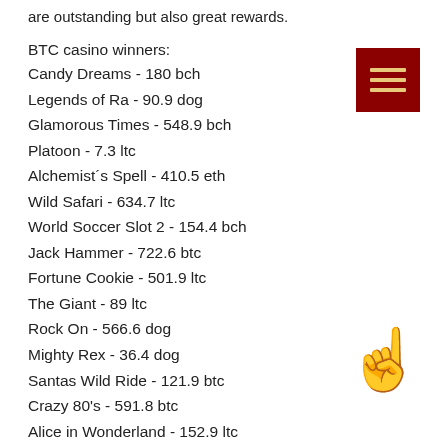are outstanding but also great rewards.
[Figure (other): Dark red hamburger menu button with three horizontal gold lines]
BTC casino winners:
Candy Dreams - 180 bch
Legends of Ra - 90.9 dog
Glamorous Times - 548.9 bch
Platoon - 7.3 ltc
Alchemist´s Spell - 410.5 eth
Wild Safari - 634.7 ltc
World Soccer Slot 2 - 154.4 bch
Jack Hammer - 722.6 btc
Fortune Cookie - 501.9 ltc
The Giant - 89 ltc
Rock On - 566.6 dog
Mighty Rex - 36.4 dog
Santas Wild Ride - 121.9 btc
Crazy 80's - 591.8 btc
Alice in Wonderland - 152.9 ltc
[Figure (illustration): Finger pointing up hand emoji]
[Figure (other): Dark navy blue circle button with three horizontal dots]
New Games:
1uSlots Casino Little Red...